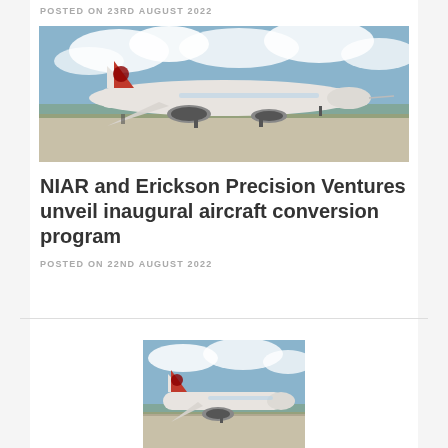POSTED ON 23RD AUGUST 2022
[Figure (photo): Commercial airliner with red tail logo on airport tarmac under cloudy sky]
NIAR and Erickson Precision Ventures unveil inaugural aircraft conversion program
POSTED ON 22ND AUGUST 2022
[Figure (photo): Commercial airliner with red tail logo on airport tarmac under cloudy sky (partial view)]